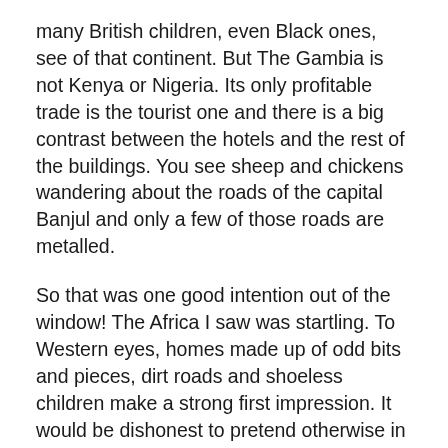many British children, even Black ones, see of that continent. But The Gambia is not Kenya or Nigeria. Its only profitable trade is the tourist one and there is a big contrast between the hotels and the rest of the buildings. You see sheep and chickens wandering about the roads of the capital Banjul and only a few of those roads are metalled.
So that was one good intention out of the window! The Africa I saw was startling. To Western eyes, homes made up of odd bits and pieces, dirt roads and shoeless children make a strong first impression. It would be dishonest to pretend otherwise in my case. But very quickly your eye begins to take in other things. Palm trees, baobabs, casuarinas, hibiscus, vultures, batik butterflies, and above all colours.
Vivid blue skies, purple flowers trailing over our hut-style room at the hotel, cloth of every shade and pattern worn by men and women, particularly